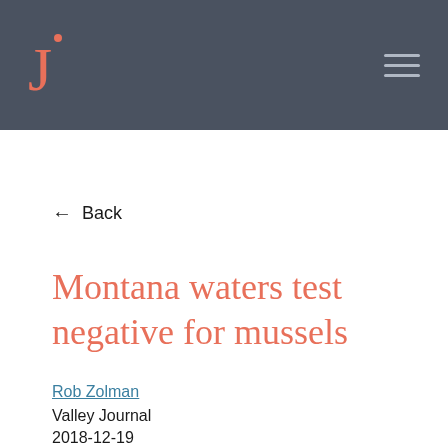J· [hamburger menu]
← Back
Montana waters test negative for mussels
Rob Zolman
Valley Journal
2018-12-19
Go to Original Story